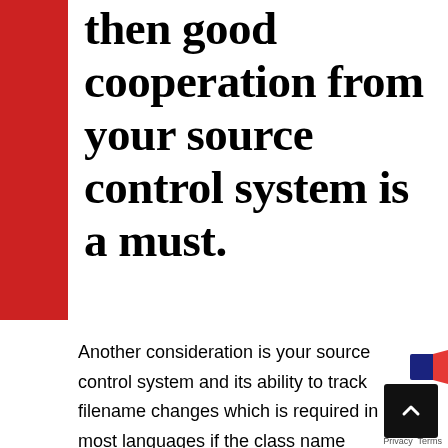then good cooperation from your source control system is a must.
Another consideration is your source control system and its ability to track filename changes which is required in most languages if the class name changes. If you want to be able to follow file history, then good cooperation from your source control system is a must.
The last element of scope is the most important. Is your product one that you sell...